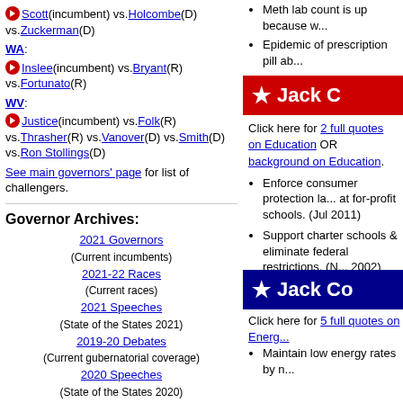Scott(incumbent) vs.Holcombe(D) vs.Zuckerman(D)
WA: Inslee(incumbent) vs.Bryant(R) vs.Fortunato(R)
WV: Justice(incumbent) vs.Folk(R) vs.Thrasher(R) vs.Vanover(D) vs.Smith(D) vs.Ron Stollings(D)
See main governors' page for list of challengers.
Governor Archives:
2021 Governors (Current incumbents)
2021-22 Races (Current races)
2021 Speeches (State of the States 2021)
2019-20 Debates (Current gubernatorial coverage)
2020 Speeches (State of the States 2020)
2019 Speeches (State of the States 2019)
2018 Speeches (State of the States 2018)
2017-18 Debates (Previous gubernatorial coverage)
2015-16 Incumbents (Previous governors' races)
Meth lab count is up because w...
Epidemic of prescription pill ab...
[Figure (infographic): Red banner with star and text 'Jack C']
Click here for 2 full quotes on Education OR background on Education.
Enforce consumer protection la... at for-profit schools. (Jul 2011)
Support charter schools & eliminate federal restrictions. (N... 2002)
[Figure (infographic): Dark blue banner with star and text 'Jack Co']
Click here for 5 full quotes on Energ...
Maintain low energy rates by n...